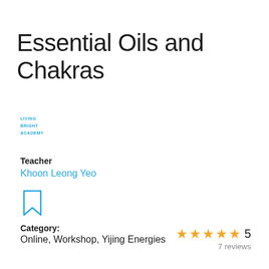Essential Oils and Chakras
[Figure (logo): Living Bright Academy logo in blue text]
Teacher
Khoon Leong Yeo
[Figure (illustration): Bookmark icon outline in blue]
Category:
Online, Workshop, Yijing Energies
5
7 reviews